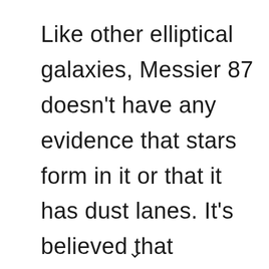Like other elliptical galaxies, Messier 87 doesn't have any evidence that stars form in it or that it has dust lanes. It's believed that